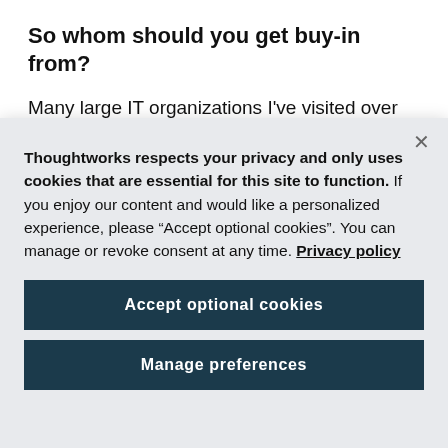So whom should you get buy-in from?
Many large IT organizations I've visited over the years have implemented an organizational structure
Thoughtworks respects your privacy and only uses cookies that are essential for this site to function. If you enjoy our content and would like a personalized experience, please “Accept optional cookies”. You can manage or revoke consent at any time. Privacy policy
Accept optional cookies
Manage preferences